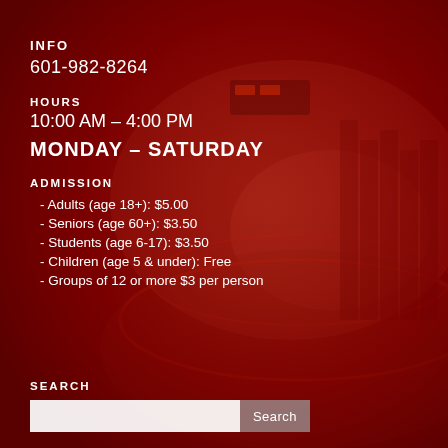INFO
601-982-8264
HOURS
10:00 AM – 4:00 PM
MONDAY – SATURDAY
ADMISSION
- Adults (age 18+): $5.00
- Seniors (age 60+): $3.50
- Students (age 6-17): $3.50
- Children (age 5 & under): Free
- Groups of 12 or more $3 per person
SEARCH